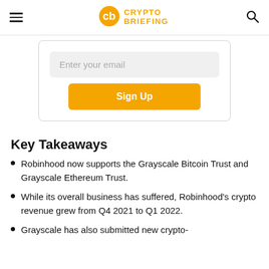Crypto Briefing
[Figure (screenshot): Email signup form with 'Enter your email' input field and 'Sign Up' button]
Key Takeaways
Robinhood now supports the Grayscale Bitcoin Trust and Grayscale Ethereum Trust.
While its overall business has suffered, Robinhood's crypto revenue grew from Q4 2021 to Q1 2022.
Grayscale has also submitted new crypto-